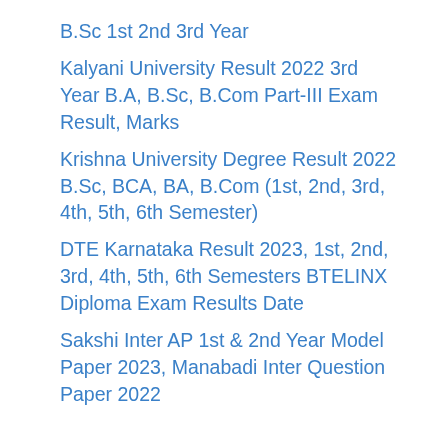B.Sc 1st 2nd 3rd Year
Kalyani University Result 2022 3rd Year B.A, B.Sc, B.Com Part-III Exam Result, Marks
Krishna University Degree Result 2022 B.Sc, BCA, BA, B.Com (1st, 2nd, 3rd, 4th, 5th, 6th Semester)
DTE Karnataka Result 2023, 1st, 2nd, 3rd, 4th, 5th, 6th Semesters BTELINX Diploma Exam Results Date
Sakshi Inter AP 1st & 2nd Year Model Paper 2023, Manabadi Inter Question Paper 2022